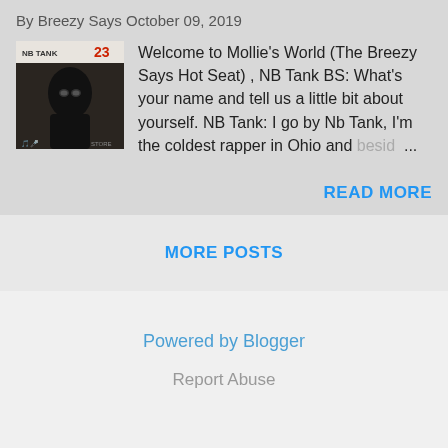By Breezy Says October 09, 2019
[Figure (other): Album cover thumbnail showing a person in a black mask/balaclava, text NB TANK at top left, red number 23 at top right]
Welcome to Mollie's World (The Breezy Says Hot Seat) , NB Tank BS: What's your name and tell us a little bit about yourself. NB Tank: I go by Nb Tank, I'm the coldest rapper in Ohio and besid ...
READ MORE
MORE POSTS
Powered by Blogger
Report Abuse